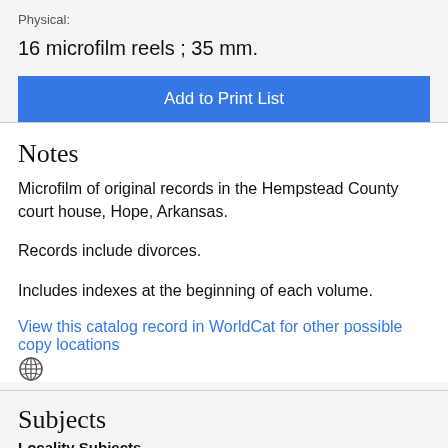Physical:
16 microfilm reels ; 35 mm.
Add to Print List
Notes
Microfilm of original records in the Hempstead County court house, Hope, Arkansas.
Records include divorces.
Includes indexes at the beginning of each volume.
View this catalog record in WorldCat for other possible copy locations
Subjects
Locality Subjects